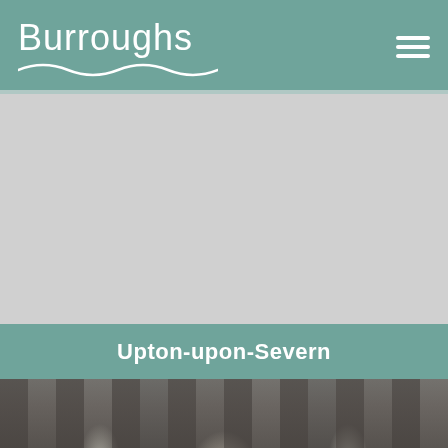[Figure (logo): Burroughs logo with white text and wave motif on teal/sage green background, with hamburger menu icon on the right]
[Figure (photo): Large light gray placeholder/image area below the header]
Upton-upon-Severn
[Figure (photo): Bottom portion of a photo showing stone columns/arches of a building or viaduct with trees visible through the arches]